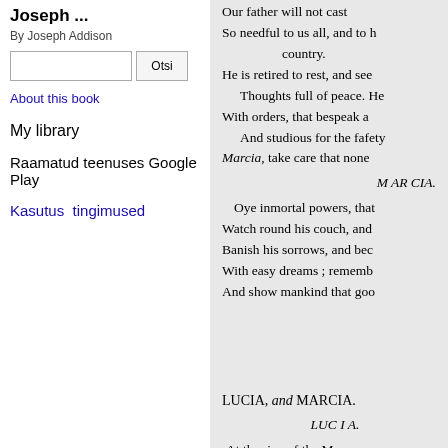Joseph ...
By Joseph Addison
About this book
My library
Raamatud teenuses Google Play
Kasutus tingimused
Our father will not cast
So needful to us all, and to
country.
He is retired to rest, and see
Thoughts full of peace. He
With orders, that bespeak a
And studious for the fafety
Marcia, take care that none
M AR CIA.
Oye inmortal powers, that
Watch round his couch, and
Banish his sorrows, and bec
With easy dreams ; rememb
And show mankind that goo
LUCIA, and MARCIA.
LUC I A.
At the rive of the M